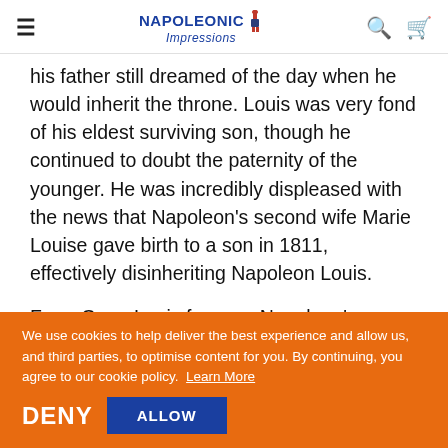≡  NAPOLEONIC Impressions  🔍  🛒
his father still dreamed of the day when he would inherit the throne. Louis was very fond of his eldest surviving son, though he continued to doubt the paternity of the younger. He was incredibly displeased with the news that Napoleon's second wife Marie Louise gave birth to a son in 1811, effectively disinheriting Napoleon Louis.
From Graz, Louis foresaw Napoleon's catastrophic Russian campaign of 1812. Although his health had
We use cookies to help deliver the best experience and allow us, and third parties, to optimise content for you. By continuing, you agree to our cookie policy.  Learn More
DENY   ALLOW